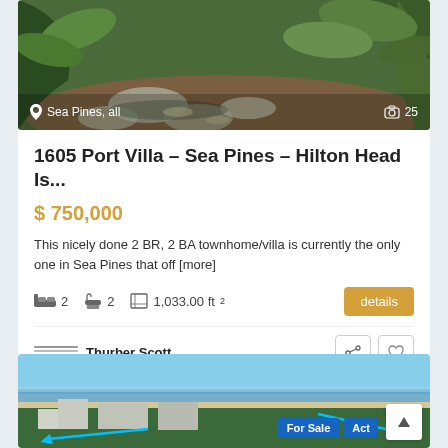[Figure (photo): Outdoor stone pathway with tropical green vegetation and plants, Sea Pines location overlay showing 25 photos]
1605 Port Villa – Sea Pines – Hilton Head Is...
$ 750,000
This nicely done 2 BR, 2 BA townhome/villa is currently the only one in Sea Pines that off [more]
2 bedrooms  2 bathrooms  1,033.00 ft²  details
Thurber Scott
[Figure (photo): Aerial view of beachfront property with blue water, beach, and resort buildings. Badges showing For Sale and Act (Active).]